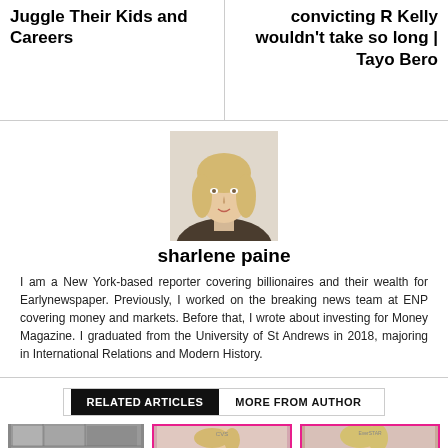Juggle Their Kids and Careers
convicting R Kelly wouldn't take so long | Tayo Bero
[Figure (photo): Headshot of Sharlene Paine, a blonde woman]
sharlene paine
I am a New York-based reporter covering billionaires and their wealth for Earlynewspaper. Previously, I worked on the breaking news team at ENP covering money and markets. Before that, I wrote about investing for Money Magazine. I graduated from the University of St Andrews in 2018, majoring in International Relations and Modern History.
RELATED ARTICLES
MORE FROM AUTHOR
[Figure (photo): Black and white collage of newspaper/comic images]
[Figure (photo): Blonde woman at an event with pink border]
[Figure (photo): Blonde woman at an event with pink border]